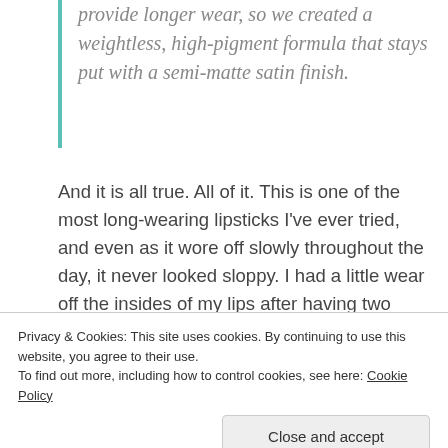provide longer wear, so we created a weightless, high-pigment formula that stays put with a semi-matte satin finish.
And it is all true. All of it. This is one of the most long-wearing lipsticks I've ever tried, and even as it wore off slowly throughout the day, it never looked sloppy. I had a little wear off the insides of my lips after having two meals. The semi-matte finish dulled a little. That's it. The lipstick stayed on, never bled past my lipline, and not once did I retouch it. For a gloriously strong red lip color, this was pretty amazing. Literally, the only two things I can complain
Privacy & Cookies: This site uses cookies. By continuing to use this website, you agree to their use.
To find out more, including how to control cookies, see here: Cookie Policy
Close and accept
in public! (Just kidding. I actually really dislike